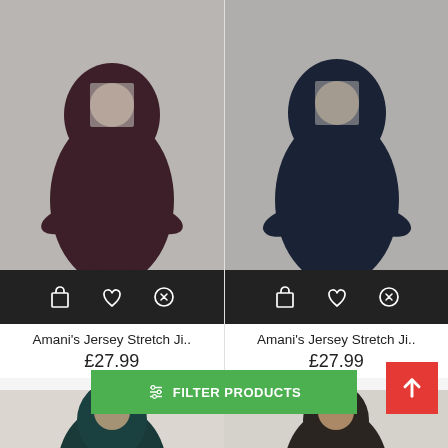[Figure (photo): Woman wearing a dark brown/plum full-length jersey stretch jilbab with integrated hijab, face blurred, on grey background]
[Figure (photo): Woman wearing a dark navy full-length jersey stretch jilbab with integrated hijab, face blurred, on grey background]
Amani's Jersey Stretch Ji..
£27.99
Amani's Jersey Stretch Ji..
£27.99
[Figure (photo): Woman wearing a dark teal hijab, partial view, bottom strip of page]
[Figure (photo): Woman wearing a dark hijab, partial view, bottom strip of page]
FILTER PRODUCTS
↑